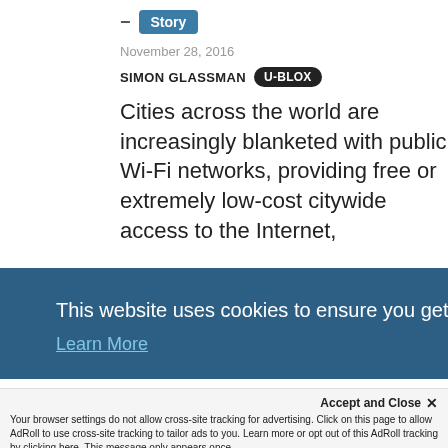Story
November 28, 2016
SIMON GLASSMAN U-BLOX
Cities across the world are increasingly blanketed with public Wi-Fi networks, providing free or extremely low-cost citywide access to the Internet,
This website uses cookies to ensure you get the best experience on our website. Learn More
Accept and Close ✕ Your browser settings do not allow cross-site tracking for advertising. Click on this page to allow AdRoll to use cross-site tracking to tailor ads to you. Learn more or opt out of this AdRoll tracking by clicking here. This message only appears once.